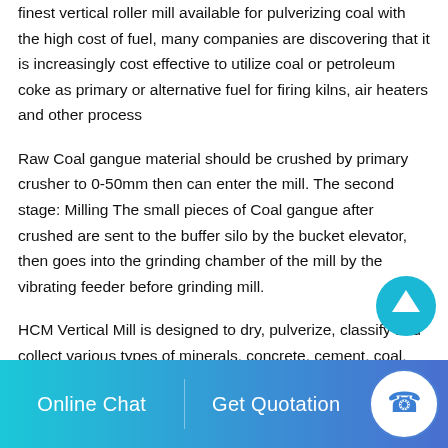finest vertical roller mill available for pulverizing coal with the high cost of fuel, many companies are discovering that it is increasingly cost effective to utilize coal or petroleum coke as primary or alternative fuel for firing kilns, air heaters and other process
Raw Coal gangue material should be crushed by primary crusher to 0-50mm then can enter the mill. The second stage: Milling The small pieces of Coal gangue after crushed are sent to the buffer silo by the bucket elevator, then goes into the grinding chamber of the mill by the vibrating feeder before grinding mill.
HCM Vertical Mill is designed to dry, pulverize, classify and collect various types of minerals, concrete, cement, coal,
[Figure (other): Circular scroll-to-top button with upward arrow, teal/blue background]
Online Chat    Get Quotation